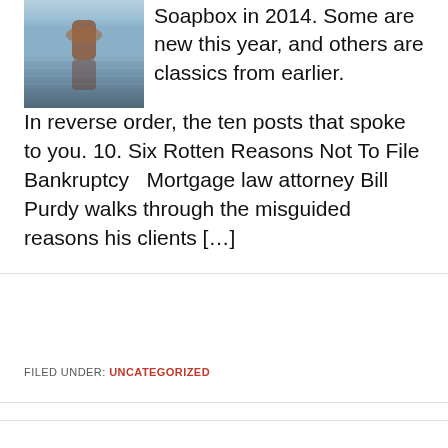[Figure (photo): Photo of a person partially submerged in rippling water, reflection visible]
Soapbox in 2014. Some are new this year, and others are classics from earlier. In reverse order, the ten posts that spoke to you. 10. Six Rotten Reasons Not To File Bankruptcy   Mortgage law attorney Bill Purdy walks through the misguided reasons his clients […]
FILED UNDER: UNCATEGORIZED